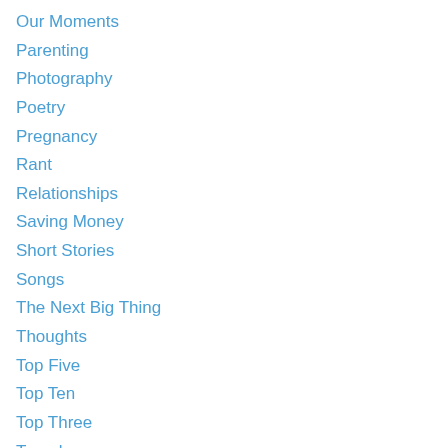Our Moments
Parenting
Photography
Poetry
Pregnancy
Rant
Relationships
Saving Money
Short Stories
Songs
The Next Big Thing
Thoughts
Top Five
Top Ten
Top Three
Travel
Uncategorized
Women's Literature
Writer's Block
Writers